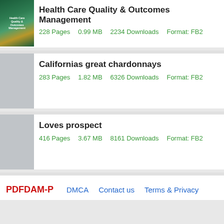[Figure (illustration): Book cover thumbnail for Health Care Quality & Outcomes Management, green and gold colored]
Health Care Quality & Outcomes Management
228 Pages    0.99 MB    2234 Downloads    Format: FB2
Californias great chardonnays
283 Pages    1.82 MB    6326 Downloads    Format: FB2
Loves prospect
416 Pages    3.67 MB    8161 Downloads    Format: FB2
PDFDAM-P    DMCA    Contact us    Terms & Privacy